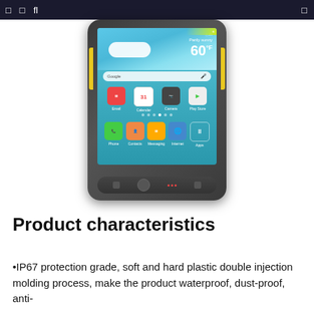□  □  fl  □
[Figure (photo): Rugged Android smartphone with yellow side accents, showing home screen with weather widget (60°F, Partly Sunny), Google search bar, app icons (Email, Calendar, Camera, Play Store, Phone, Contacts, Messaging, Internet, Apps), and navigation buttons at the bottom.]
Product characteristics
•IP67 protection grade, soft and hard plastic double injection molding process, make the product waterproof, dust-proof, anti-